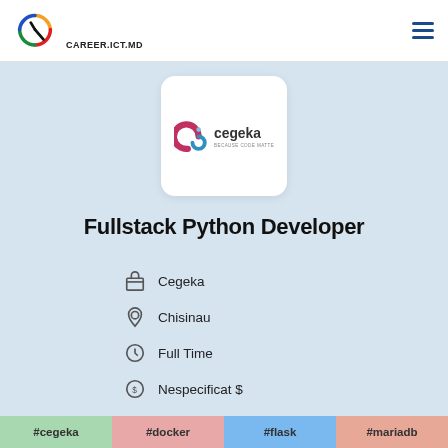CAREER.ICT.MD
[Figure (logo): Cegeka company logo on white card]
Fullstack Python Developer
Cegeka
Chisinau
Full Time
Nespecificat $
#cegeka
#docker
#flask
#mariadb